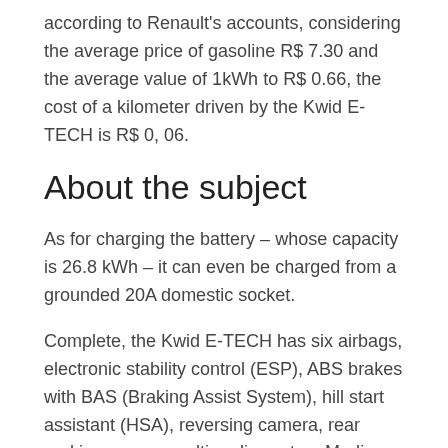according to Renault's accounts, considering the average price of gasoline R$ 7.30 and the average value of 1kWh to R$ 0.66, the cost of a kilometer driven by the Kwid E-TECH is R$ 0, 06.
About the subject
As for charging the battery – whose capacity is 26.8 kWh – it can even be charged from a grounded 20A domestic socket.
Complete, the Kwid E-TECH has six airbags, electronic stability control (ESP), ABS brakes with BAS (Braking Assist System), hill start assistant (HSA), reversing camera, rear parking sensor, multimedia system Media Evolution and electric steering, among other safety and comfort items.